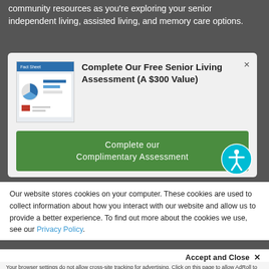community resources as you're exploring your senior independent living, assisted living, and memory care options.
[Figure (screenshot): Modal popup with a dashboard/assessment graphic and bold title text]
Complete Our Free Senior Living Assessment (A $300 Value)
Complete our Complimentary Assessment
Our website stores cookies on your computer. These cookies are used to collect information about how you interact with our website and allow us to provide a better experience. To find out more about the cookies we use, see our Privacy Policy.
Accept and Close ✕
Your browser settings do not allow cross-site tracking for advertising. Click on this page to allow AdRoll to use cross-site tracking to tailor ads to you. Learn more or opt out of this AdRoll tracking by clicking here. This message only appears once.